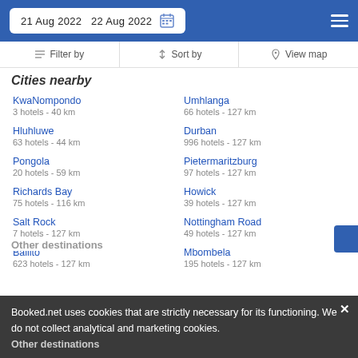21 Aug 2022  22 Aug 2022
Filter by   Sort by   View map
Cities nearby
KwaNompondo
3 hotels - 40 km
Umhlanga
66 hotels - 127 km
Hluhluwe
63 hotels - 44 km
Durban
996 hotels - 127 km
Pongola
20 hotels - 59 km
Pietermaritzburg
97 hotels - 127 km
Richards Bay
75 hotels - 116 km
Howick
39 hotels - 127 km
Salt Rock
7 hotels - 127 km
Nottingham Road
49 hotels - 127 km
Ballito
623 hotels - 127 km
Mbombela
195 hotels - 127 km
Other destinations
Booked.net uses cookies that are strictly necessary for its functioning. We do not collect analytical and marketing cookies.